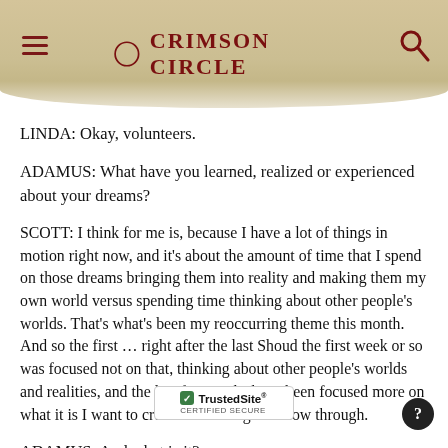CRIMSON CIRCLE
LINDA: Okay, volunteers.
ADAMUS: What have you learned, realized or experienced about your dreams?
SCOTT: I think for me is, because I have a lot of things in motion right now, and it’s about the amount of time that I spend on those dreams bringing them into reality and making them my own world versus spending time thinking about other people’s worlds. That’s what’s been my reoccurring theme this month. And so the first … right after the last Shoud the first week or so was focused not on that, thinking about other people’s worlds and realities, and the last few weeks have been focused more on what it is I want to create and letting that flow through.
ADAMUS: And what is it?
[Figure (logo): TrustedSite Certified Secure badge]